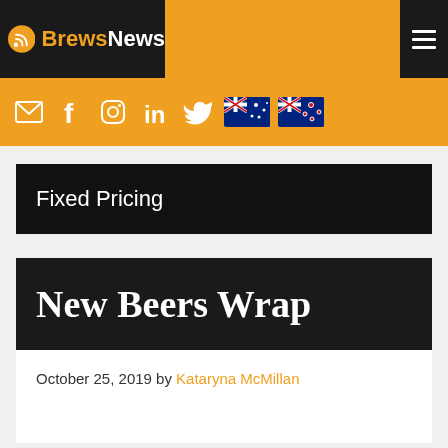BrewsNews
[Figure (screenshot): BrewsNews website header with logo, orange navigation bar with social media icons (email, Facebook, Instagram, LinkedIn, Twitter), Australian flag, New Zealand flag, and hamburger menu button]
[Figure (screenshot): Fixed Pricing banner — black background with white text 'Fixed Pricing']
New Beers Wrap
October 25, 2019 by Kataryna McMillan